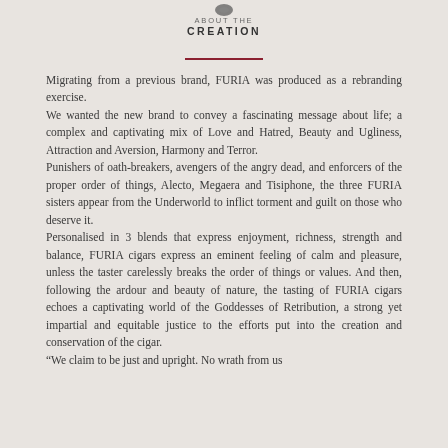[Figure (logo): Small decorative icon above ABOUT THE CREATION header]
ABOUT THE
CREATION
Migrating from a previous brand, FURIA was produced as a rebranding exercise.
We wanted the new brand to convey a fascinating message about life; a complex and captivating mix of Love and Hatred, Beauty and Ugliness, Attraction and Aversion, Harmony and Terror.
Punishers of oath-breakers, avengers of the angry dead, and enforcers of the proper order of things, Alecto, Megaera and Tisiphone, the three FURIA sisters appear from the Underworld to inflict torment and guilt on those who deserve it.
Personalised in 3 blends that express enjoyment, richness, strength and balance, FURIA cigars express an eminent feeling of calm and pleasure, unless the taster carelessly breaks the order of things or values. And then, following the ardour and beauty of nature, the tasting of FURIA cigars echoes a captivating world of the Goddesses of Retribution, a strong yet impartial and equitable justice to the efforts put into the creation and conservation of the cigar.
“We claim to be just and upright. No wrath from us